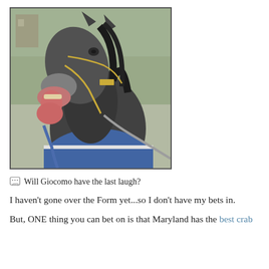[Figure (photo): A dark grey horse with mouth wide open, tongue hanging out, wearing a blue blanket and gold chain halter with a lead rope, appearing to laugh. Background is blurred outdoor scene.]
Will Giocomo have the last laugh?
I haven't gone over the Form yet...so I don't have my bets in.
But, ONE thing you can bet on is that Maryland has the best crab